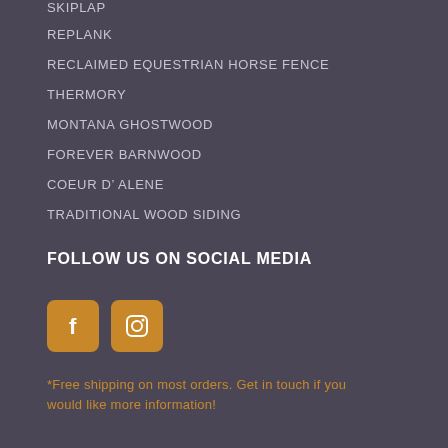SKIPLAP
REPLANK
RECLAIMED EQUESTRIAN HORSE FENCE
THERMORY
MONTANA GHOSTWOOD
FOREVER BARNWOOD
COEUR D’ ALENE
TRADITIONAL WOOD SIDING
FOLLOW US ON SOCIAL MEDIA
[Figure (infographic): Facebook and Instagram social media icons as golden square buttons with white symbols]
*Free shipping on most orders. Get in touch if you would like more information!